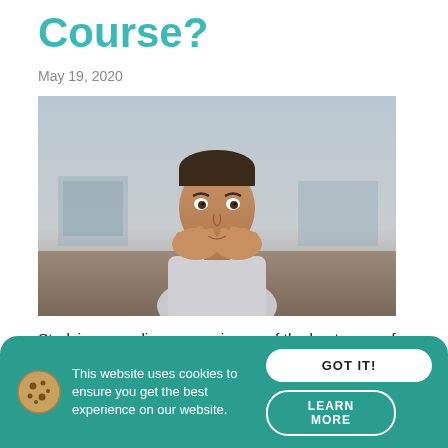Course?
May 19, 2020
[Figure (photo): Young man looking directly at the camera with his hands clasped together near his chin, outdoor background with muted sky.]
Studying an online course is one of the best ways of gaining qualifications while maintaining a balance between work and home life. The flexible approach means you can study when it suits you and you can complete the course as quickly as you're able. This[...]
Read More »
This website uses cookies to ensure you get the best experience on our website.